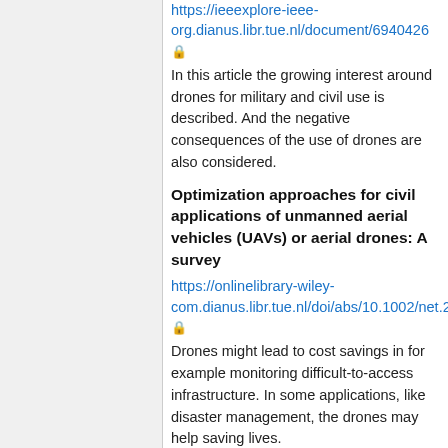https://ieeexplore-ieee-org.dianus.libr.tue.nl/document/6940426 🔒
In this article the growing interest around drones for military and civil use is described. And the negative consequences of the use of drones are also considered.
Optimization approaches for civil applications of unmanned aerial vehicles (UAVs) or aerial drones: A survey
https://onlinelibrary-wiley-com.dianus.libr.tue.nl/doi/abs/10.1002/net.21818 🔒
Drones might lead to cost savings in for example monitoring difficult-to-access infrastructure. In some applications, like disaster management, the drones may help saving lives.
Problems of a trajectory planning in autonomous navigation systems based on technical vision and AI
https://ieeexplore.ieee.org/document/8317265 🔒